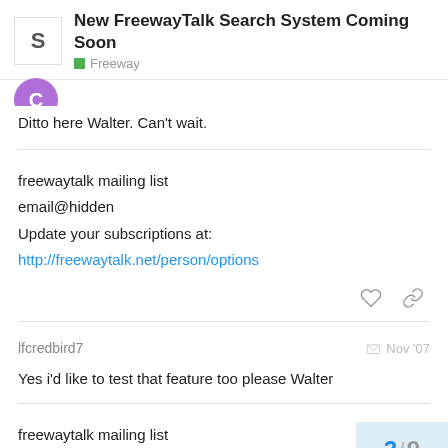New FreewayTalk Search System Coming Soon — Freeway
[Figure (illustration): Purple avatar circle with letter C, partially visible at top]
Ditto here Walter. Can't wait.
freewaytalk mailing list
email@hidden
Update your subscriptions at:
http://freewaytalk.net/person/options
lfcredbird7   Nov '07
Yes i'd like to test that feature too please Walter
freewaytalk mailing list
email@hidden